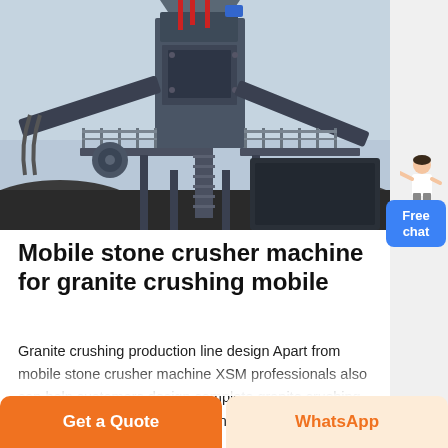[Figure (photo): Industrial mobile stone crusher machine / granite crushing equipment at a quarry or construction site. Large dark metal structure with conveyor belts, railings, stairs, and heavy machinery components against an overcast sky.]
Mobile stone crusher machine for granite crushing mobile
Granite crushing production line design Apart from mobile stone crusher machine XSM professionals also can help customers design complete granite crushing production line which mainly consists of vibrating
[Figure (illustration): Small illustration of a woman in business attire pointing, used as a chat assistant avatar in the sidebar.]
Free chat
Get a Quote
WhatsApp